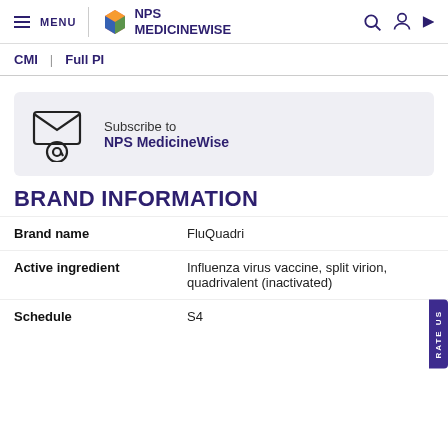MENU | NPS MEDICINEWISE
CMI | Full PI
[Figure (other): Subscribe to NPS MedicineWise email newsletter box with envelope icon]
BRAND INFORMATION
| Brand name | FluQuadri |
| Active ingredient | Influenza virus vaccine, split virion, quadrivalent (inactivated) |
| Schedule | S4 |